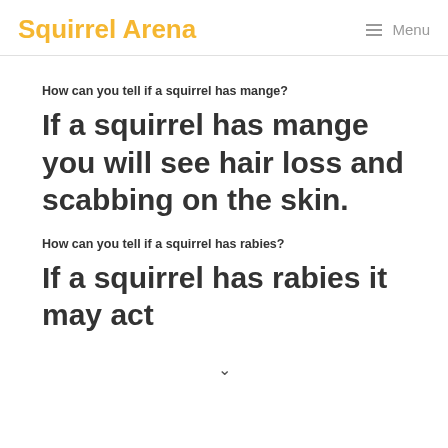Squirrel Arena | Menu
How can you tell if a squirrel has mange?
If a squirrel has mange you will see hair loss and scabbing on the skin.
How can you tell if a squirrel has rabies?
If a squirrel has rabies it may act